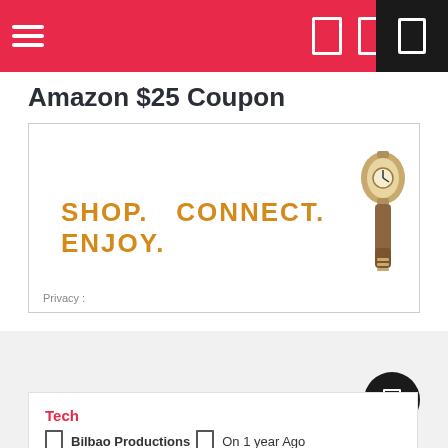Navigation bar with hamburger menu and icons
Amazon $25 Coupon
[Figure (advertisement): Advertisement banner reading SHOP. CONNECT. ENJOY. in orange bold text with a product image on the right and a Privacy label at the bottom left]
You May Like
Tech
Bilbao Productions  On 1 year Ago